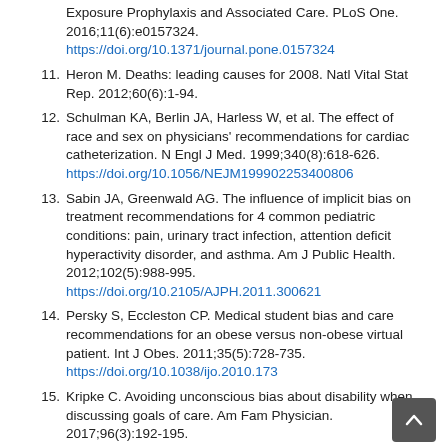Exposure Prophylaxis and Associated Care. PLoS One. 2016;11(6):e0157324. https://doi.org/10.1371/journal.pone.0157324
11. Heron M. Deaths: leading causes for 2008. Natl Vital Stat Rep. 2012;60(6):1-94.
12. Schulman KA, Berlin JA, Harless W, et al. The effect of race and sex on physicians' recommendations for cardiac catheterization. N Engl J Med. 1999;340(8):618-626. https://doi.org/10.1056/NEJM199902253400806
13. Sabin JA, Greenwald AG. The influence of implicit bias on treatment recommendations for 4 common pediatric conditions: pain, urinary tract infection, attention deficit hyperactivity disorder, and asthma. Am J Public Health. 2012;102(5):988-995. https://doi.org/10.2105/AJPH.2011.300621
14. Persky S, Eccleston CP. Medical student bias and care recommendations for an obese versus non-obese virtual patient. Int J Obes. 2011;35(5):728-735. https://doi.org/10.1038/ijo.2010.173
15. Kripke C. Avoiding unconscious bias about disability when discussing goals of care. Am Fam Physician. 2017;96(3):192-195.